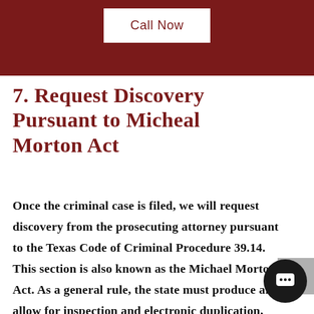Call Now
7. Request Discovery Pursuant to Micheal Morton Act
Once the criminal case is filed, we will request discovery from the prosecuting attorney pursuant to the Texas Code of Criminal Procedure 39.14. This section is also known as the Michael Morton Act. As a general rule, the state must produce and allow for inspection and electronic duplication, copying and photographing the evidence in the case. In a DWI arrest